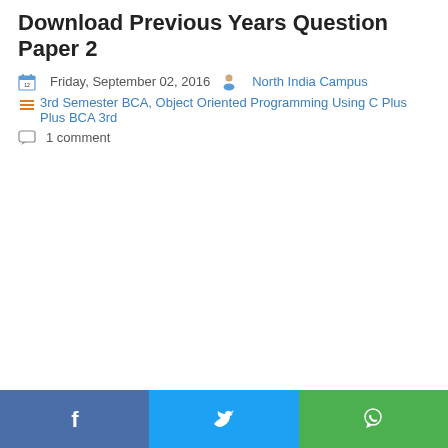Download Previous Years Question Paper 2
Friday, September 02, 2016  North India Campus
3rd Semester BCA, Object Oriented Programming Using C Plus Plus BCA 3rd
1 comment
[Figure (other): Social share bar with Facebook, Twitter, and WhatsApp buttons at the bottom of the page]